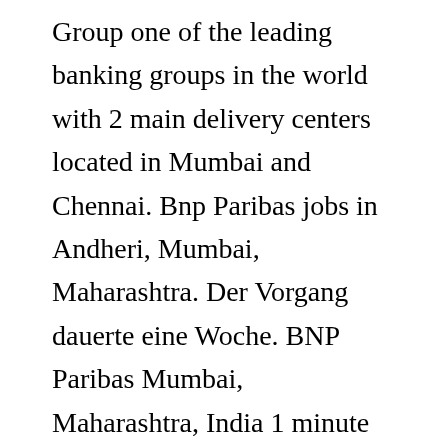Group one of the leading banking groups in the world with 2 main delivery centers located in Mumbai and Chennai. Bnp Paribas jobs in Andheri, Mumbai, Maharashtra. Der Vorgang dauerte eine Woche. BNP Paribas Mumbai, Maharashtra, India 1 minute ago Be among the first 25 applicants. They have wasted efforts of entire day and not attending candidate came for an interview. 1 & 2, Ground Floor, 9, Koregaon Road, Pune – 411 001 (020) 6708 6912 / 67086917 (020) 6708